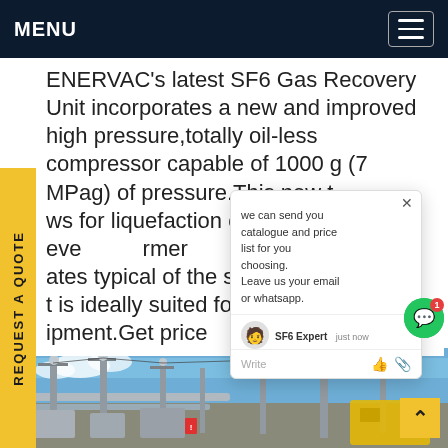MENU
ENERVAC's latest SF6 Gas Recovery Unit incorporates a new and improved high pressure,totally oil-less compressor capable of 1000 g (7 MPag) of pressure.This new t ws for liquefaction of SF6 gas eve rmer ates typical of the southern Uni he t is ideally suited for servicing sm F ipment.Get price
[Figure (screenshot): Chat popup overlay with message: 'we can send you catalogue and price list for you choosing. Leave us your email or whatsapp.' with SF6 Expert agent and Write input field]
[Figure (photo): Industrial electrical substation with pipes, towers, and equipment under blue sky]